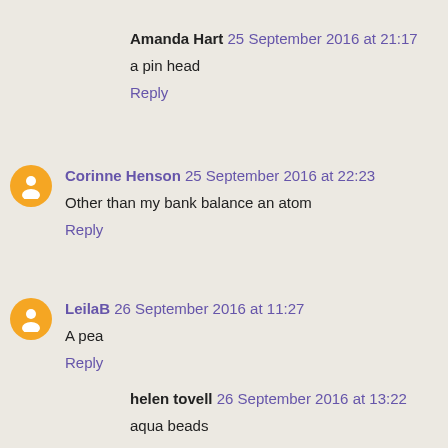Amanda Hart 25 September 2016 at 21:17
a pin head
Reply
Corinne Henson 25 September 2016 at 22:23
Other than my bank balance an atom
Reply
LeilaB 26 September 2016 at 11:27
A pea
Reply
helen tovell 26 September 2016 at 13:22
aqua beads